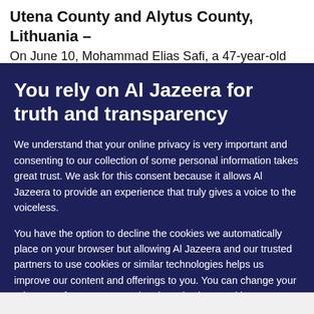Utena County and Alytus County, Lithuania –
On June 10, Mohammad Elias Safi, a 47-year-old
You rely on Al Jazeera for truth and transparency
We understand that your online privacy is very important and consenting to our collection of some personal information takes great trust. We ask for this consent because it allows Al Jazeera to provide an experience that truly gives a voice to the voiceless.
You have the option to decline the cookies we automatically place on your browser but allowing Al Jazeera and our trusted partners to use cookies or similar technologies helps us improve our content and offerings to you. You can change your privacy preferences at any time by selecting 'Cookie preferences' at the bottom of your screen. To learn more, please view our Cookie Policy.